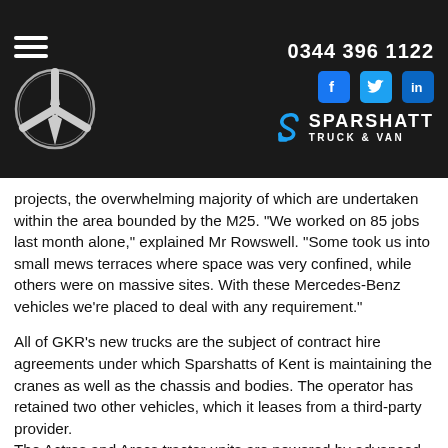0344 396 1122 | Sparshatt Truck & Van
projects, the overwhelming majority of which are undertaken within the area bounded by the M25. "We worked on 85 jobs last month alone," explained Mr Rowswell. "Some took us into small mews terraces where space was very confined, while others were on massive sites. With these Mercedes-Benz vehicles we're placed to deal with any requirement."
All of GKR's new trucks are the subject of contract hire agreements under which Sparshatts of Kent is maintaining the cranes as well as the chassis and bodies. The operator has retained two other vehicles, which it leases from a third-party provider.
The Actros and Arocs tractor units are powered by advanced, 265 kW (360 hp) straight-six engines driving through Mercedes PowerShift 3 automated transmissions. The rigids also employ Mercedes